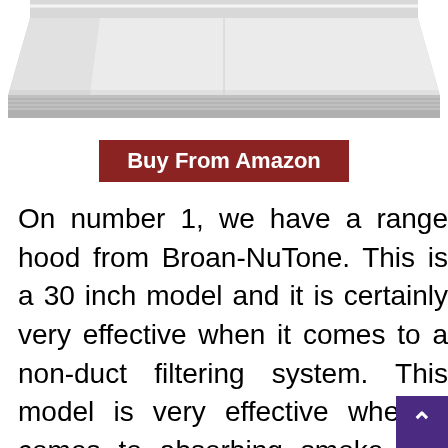[Figure (photo): Range hood appliance, stainless steel, viewed from front-bottom angle showing the underside and front face. White background.]
Buy From Amazon
On number 1, we have a range hood from Broan-NuTone. This is a 30 inch model and it is certainly very effective when it comes to a non-duct filtering system. This model is very effective when it comes to absorbing smoke and odor. Getting into the details, the range hood allows you to install a light as per your need. The maximum range of light that can be installed here is capped at 75 watt bulb. Yo replace the charcoal filter when after a